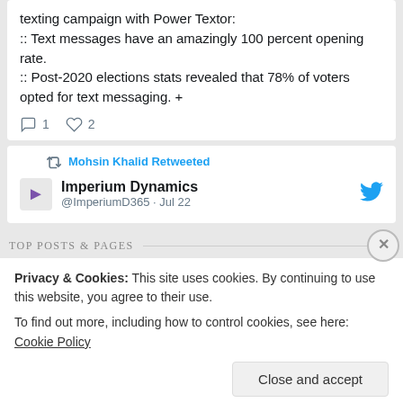texting campaign with Power Textor:
:: Text messages have an amazingly 100 percent opening rate.
:: Post-2020 elections stats revealed that 78% of voters opted for text messaging. +
comment 1   heart 2
Mohsin Khalid Retweeted
Imperium Dynamics @ImperiumD365 · Jul 22
TOP POSTS & PAGES
Privacy & Cookies: This site uses cookies. By continuing to use this website, you agree to their use.
To find out more, including how to control cookies, see here: Cookie Policy
Close and accept